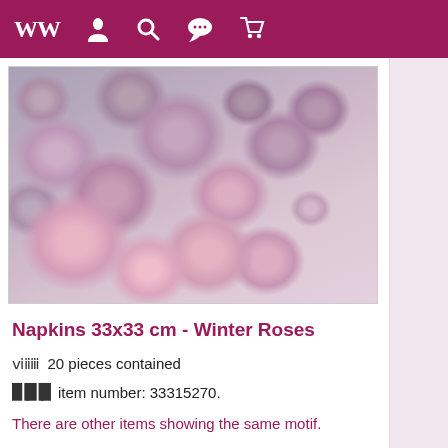Navigation bar with icons: W (logo), person, search, chat, cart
[Figure (photo): Close-up photograph of winter roses in pastel pink, mauve, and lavender colors with frosted/silvery foliage]
Napkins 33x33 cm - Winter Roses
20 pieces contained
item number: 33315270.
There are other items showing the same motif.